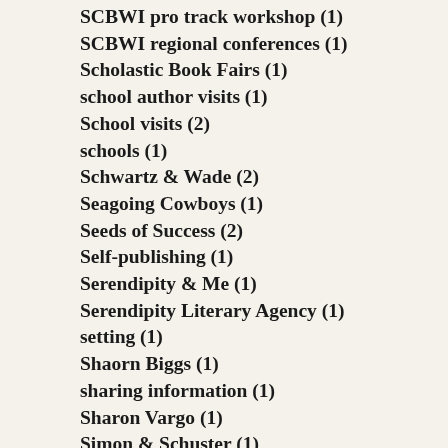SCBWI pro track workshop (1)
SCBWI regional conferences (1)
Scholastic Book Fairs (1)
school author visits (1)
School visits (2)
schools (1)
Schwartz & Wade (2)
Seagoing Cowboys (1)
Seeds of Success (2)
Self-publishing (1)
Serendipity & Me (1)
Serendipity Literary Agency (1)
setting (1)
Shaorn Biggs (1)
sharing information (1)
Sharon Vargo (1)
Simon & Schuster (1)
simplicity (1)
Small business Saturday (2)